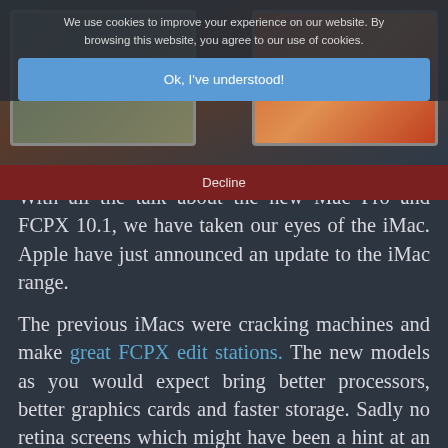[Figure (screenshot): Top portion of website showing two iMac displays side by side, one with a green/nature image and one with a fruit/orange image. A cookie consent overlay is visible on top.]
We use cookies to improve your experience on our website. By browsing this website, you agree to our use of cookies.
Ok, I've understood!
Decline
With all the talk about the new Mac Pro and FCPX 10.1, we have taken our eyes of the iMac. Apple have just announced an update to the iMac range.
The previous iMacs were cracking machines and make great FCPX edit stations. The new models as you would expect bring better processors, better graphics cards and faster storage. Sadly no retina screens which might have been a hint at an upcoming new Apple display.
“iMac continues to be the example that proves how beautiful, fast and fun a desktop computer